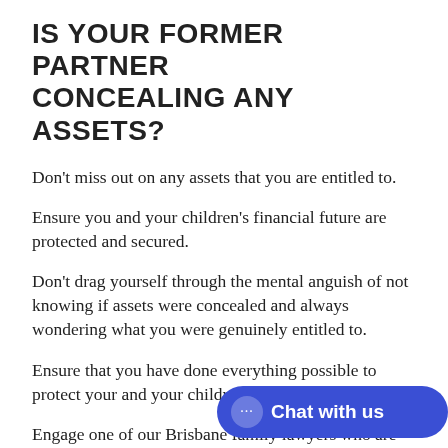IS YOUR FORMER PARTNER CONCEALING ANY ASSETS?
Don't miss out on any assets that you are entitled to.
Ensure you and your children's financial future are protected and secured.
Don't drag yourself through the mental anguish of not knowing if assets were concealed and always wondering what you were genuinely entitled to.
Ensure that you have done everything possible to protect your and your children's financial security.
Engage one of our Brisbane family lawyers who are going to thoroughly investigate yo